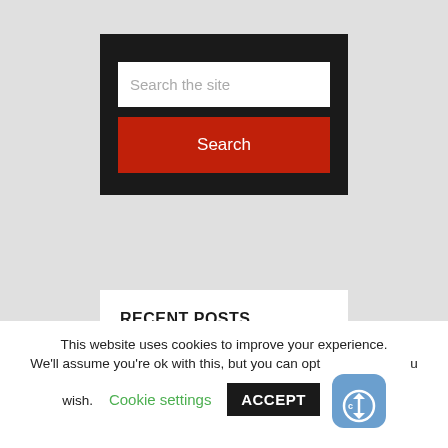[Figure (screenshot): Search widget with dark background, text input field labeled 'Search the site', and a red Search button]
RECENT POSTS
HP Officejet Pro L7400 All-in-One Printer series Driver Download
This website uses cookies to improve your experience. We'll assume you're ok with this, but you can opt out if you wish. Cookie settings ACCEPT